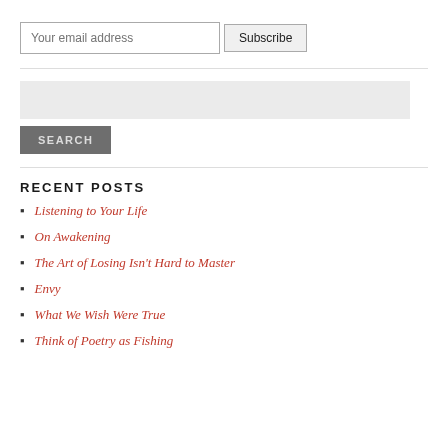Your email address
Subscribe
SEARCH
RECENT POSTS
Listening to Your Life
On Awakening
The Art of Losing Isn't Hard to Master
Envy
What We Wish Were True
Think of Poetry as Fishing